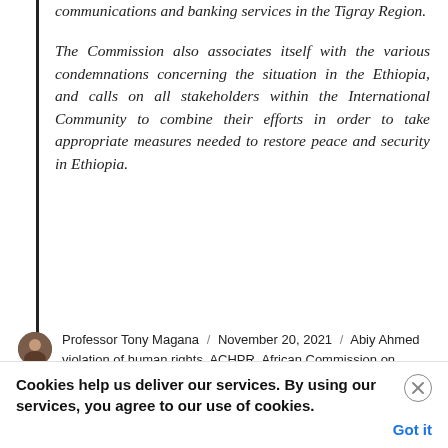communications and banking services in the Tigray Region.
The Commission also associates itself with the various condemnations concerning the situation in the Ethiopia, and calls on all stakeholders within the International Community to combine their efforts in order to take appropriate measures needed to restore peace and security in Ethiopia.
Professor Tony Magana / November 20, 2021 / Abiy Ahmed violation of human rights, ACHPR, African Commission on Human and People's Rights, Eritrean
Cookies help us deliver our services. By using our services, you agree to our use of cookies. Got it